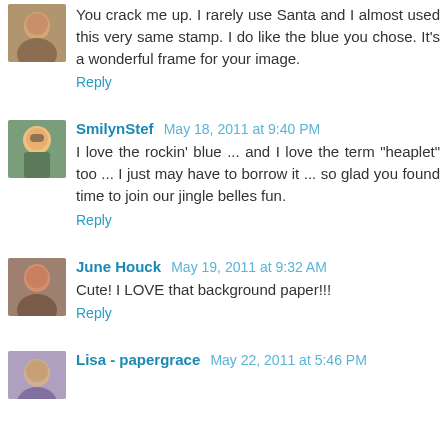[Figure (photo): Small avatar photo of a person, top-left corner]
You crack me up. I rarely use Santa and I almost used this very same stamp. I do like the blue you chose. It's a wonderful frame for your image.
Reply
[Figure (photo): Small avatar photo of SmilynStef]
SmilynStef  May 18, 2011 at 9:40 PM
I love the rockin' blue ... and I love the term "heaplet" too ... I just may have to borrow it ... so glad you found time to join our jingle belles fun.
Reply
[Figure (photo): Small avatar photo of June Houck]
June Houck  May 19, 2011 at 9:32 AM
Cute! I LOVE that background paper!!!
Reply
[Figure (photo): Small avatar photo of Lisa - papergrace]
Lisa - papergrace  May 22, 2011 at 5:46 PM